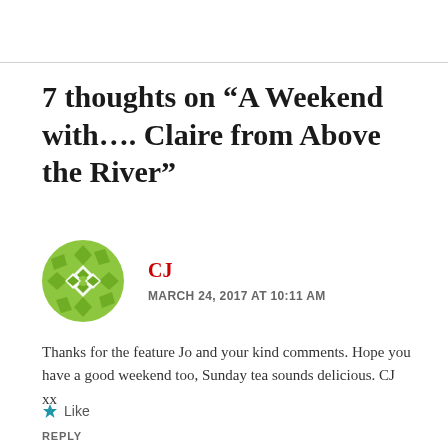7 thoughts on “A Weekend with…. Claire from Above the River”
[Figure (illustration): Green decorative avatar icon with geometric floral pattern]
CJ
MARCH 24, 2017 AT 10:11 AM
Thanks for the feature Jo and your kind comments. Hope you have a good weekend too, Sunday tea sounds delicious. CJ xx
★ Like
REPLY